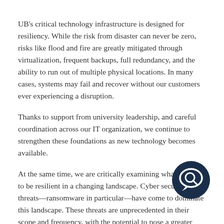UB's critical technology infrastructure is designed for resiliency. While the risk from disaster can never be zero, risks like flood and fire are greatly mitigated through virtualization, frequent backups, full redundancy, and the ability to run out of multiple physical locations. In many cases, systems may fail and recover without our customers ever experiencing a disruption.
Thanks to support from university leadership, and careful coordination across our IT organization, we continue to strengthen these foundations as new technology becomes available.
At the same time, we are critically examining what it means to be resilient in a changing landscape. Cyber security threats—ransomware in particular—have come to dominate this landscape. These threats are unprecedented in their scope and frequency, with the potential to pose a greater threat to our operations than an earthquake or a flood.
Compounding this threat is the changing way we look at services within the organization. Traditionally, a distinction has
[Figure (illustration): Dark navy blue circular chat/message icon with a speech bubble containing a magnifying glass or Q symbol, positioned in the lower right area of the page]